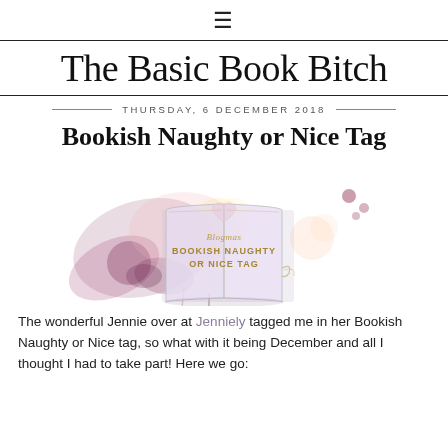☰
The Basic Book Bitch
THURSDAY, 6 DECEMBER 2018
Bookish Naughty or Nice Tag
[Figure (illustration): An open book with watercolor paint splashes in pink, purple, and gold tones. The book reads 'Blogmas BOOKISH NAUGHTY OR NICE TAG' in gold lettering on the pages.]
The wonderful Jennie over at Jenniely tagged me in her Bookish Naughty or Nice tag, so what with it being December and all I thought I had to take part! Here we go: